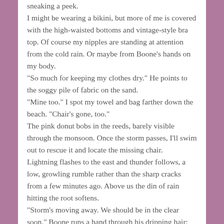sneaking a peek. I might be wearing a bikini, but more of me is covered with the high-waisted bottoms and vintage-style bra top. Of course my nipples are standing at attention from the cold rain. Or maybe from Boone’s hands on my body. “So much for keeping my clothes dry.” He points to the soggy pile of fabric on the sand. “Mine too.” I spot my towel and bag farther down the beach. “Chair’s gone, too.” The pink donut bobs in the reeds, barely visible through the monsoon. Once the storm passes, I’ll swim out to rescue it and locate the missing chair. Lightning flashes to the east and thunder follows, a low, growling rumble rather than the sharp cracks from a few minutes ago. Above us the din of rain hitting the root softens. “Storm’s moving away. We should be in the clear soon.” Boone runs a hand through his dripping hair; his bicep coils and muscles stretch over his